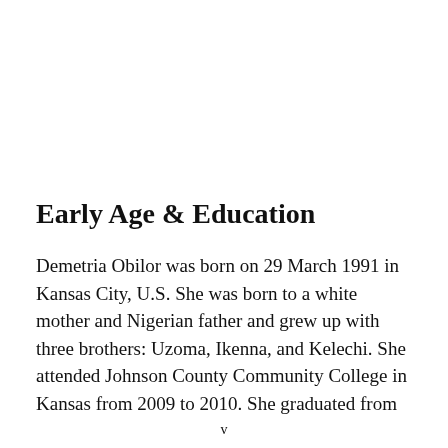Early Age & Education
Demetria Obilor was born on 29 March 1991 in Kansas City, U.S. She was born to a white mother and Nigerian father and grew up with three brothers: Uzoma, Ikenna, and Kelechi. She attended Johnson County Community College in Kansas from 2009 to 2010. She graduated from
v